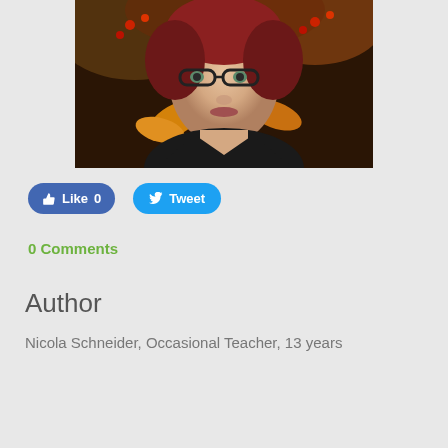[Figure (photo): Portrait photo of a woman with red hair and black-rimmed glasses, surrounded by autumn foliage with red berries and colorful leaves]
Like 0
Tweet
0 Comments
Author
Nicola Schneider, Occasional Teacher, 13 years